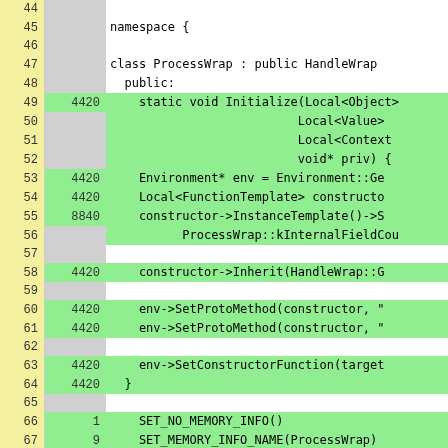Code coverage view showing lines 44-70 of ProcessWrap class implementation with hit counts
| Line | Count | Code |
| --- | --- | --- |
| 44 |  |  |
| 45 |  | namespace { |
| 46 |  |  |
| 47 |  | class ProcessWrap : public HandleWrap |
| 48 |  |   public: |
| 49 | 4420 |   static void Initialize(Local<Object> |
| 50 |  |                           Local<Value> |
| 51 |  |                           Local<Context |
| 52 |  |                           void* priv) { |
| 53 | 4420 |     Environment* env = Environment::Ge |
| 54 | 4420 |     Local<FunctionTemplate> constructo |
| 55 | 8840 |     constructor->InstanceTemplate()->S |
| 56 |  |           ProcessWrap::kInternalFieldCou |
| 57 |  |  |
| 58 | 4420 |     constructor->Inherit(HandleWrap::G |
| 59 |  |  |
| 60 | 4420 |     env->SetProtoMethod(constructor, " |
| 61 | 4420 |     env->SetProtoMethod(constructor, " |
| 62 |  |  |
| 63 | 4420 |     env->SetConstructorFunction(target |
| 64 | 4420 |   } |
| 65 |  |  |
| 66 | 1 |     SET_NO_MEMORY_INFO() |
| 67 | 9 |     SET_MEMORY_INFO_NAME(ProcessWrap) |
| 68 | 1 |     SET_SELF_SIZE(ProcessWrap) |
| 69 |  |  |
| 70 |  |   private: |